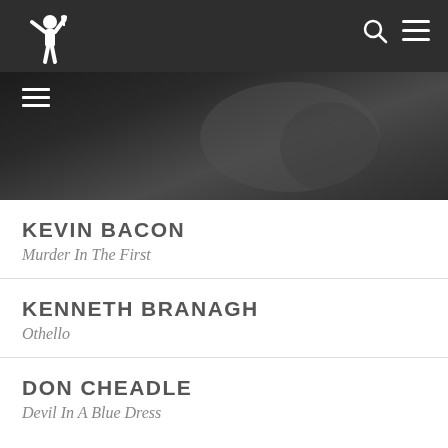[Figure (logo): Screen Actors Guild Awards logo with white figurine holding a trophy, text reading SCREEN ACTORS GUILD AWARDS]
[Figure (photo): Dark grayscale background photo, partially visible, with a hamburger menu icon in white at bottom left]
KEVIN BACON
Murder In The First
KENNETH BRANAGH
Othello
DON CHEADLE
Devil In A Blue Dress